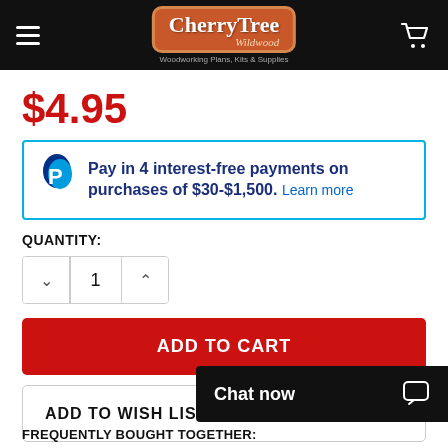[Figure (logo): CherryTree Wildwood logo on dark header bar with hamburger menu and cart icon]
$4.95
[Figure (infographic): PayPal Pay in 4 interest-free payments on purchases of $30-$1,500. Learn more]
QUANTITY:
ADD TO CART
ADD TO WISH LIST
Chat now
FREQUENTLY BOUGHT TOGETHER: